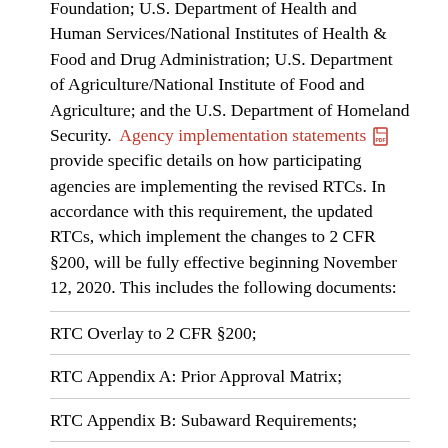Foundation; U.S. Department of Health and Human Services/National Institutes of Health & Food and Drug Administration; U.S. Department of Agriculture/National Institute of Food and Agriculture; and the U.S. Department of Homeland Security. Agency implementation statements provide specific details on how participating agencies are implementing the revised RTCs. In accordance with this requirement, the updated RTCs, which implement the changes to 2 CFR §200, will be fully effective beginning November 12, 2020. This includes the following documents:
RTC Overlay to 2 CFR §200;
RTC Appendix A: Prior Approval Matrix;
RTC Appendix B: Subaward Requirements;
RTC Appendix C: National Policy Requirements; and
Agency Specific Requirements for the participating agencies.